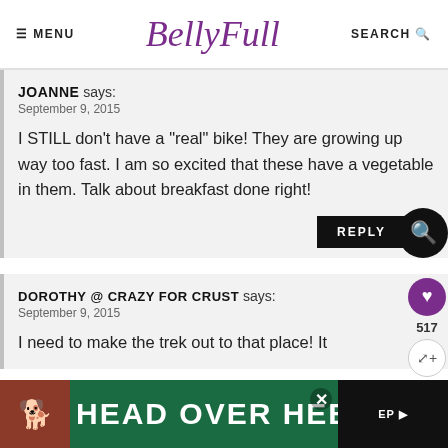MENU | BellyFull | SEARCH
JOANNE says:
September 9, 2015
I STILL don't have a "real" bike! They are growing up way too fast. I am so excited that these have a vegetable in them. Talk about breakfast done right!
REPLY
DOROTHY @ CRAZY FOR CRUST says:
September 9, 2015
I need to make the trek out to that place! It
[Figure (infographic): Advertisement banner: HEAD OVER HEELS with dog image on dark green background]